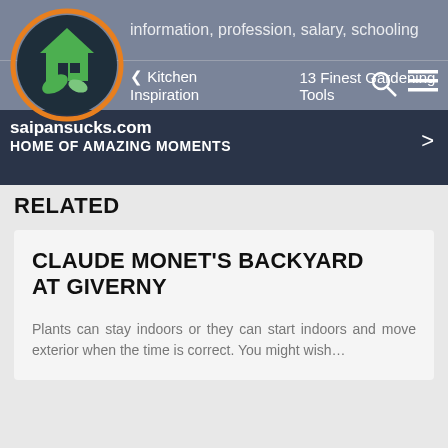[Figure (screenshot): Website header for saipansucks.com showing logo, navigation bar with 'Kitchen Inspiration' and '13 Finest Gardening Tools', search icon, hamburger menu, site name and tagline 'HOME OF AMAZING MOMENTS', and top bar text 'information, profession, salary, schooling']
RELATED
CLAUDE MONET'S BACKYARD AT GIVERNY
Plants can stay indoors or they can start indoors and move exterior when the time is correct. You might wish…